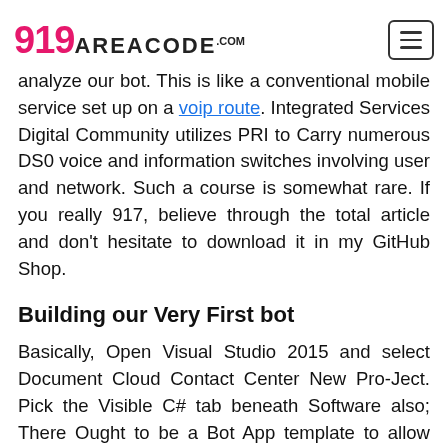919areacode.com
analyze our bot. This is like a conventional mobile service set up on a voip route. Integrated Services Digital Community utilizes PRI to Carry numerous DS0 voice and information switches involving user and network. Such a course is somewhat rare. If you really 917, believe through the total article and don't hesitate to download it in my GitHub Shop.
Building our Very First bot
Basically, Open Visual Studio 2015 and select Document Cloud Contact Center New Pro-Ject. Pick the Visible C# tab beneath Software also; There Ought to be a Bot App template to allow You to Pick. Title it My country mobile LookupBot. You are jogging your own bot for your First-time. Compared to other wholesale Voip routes provider